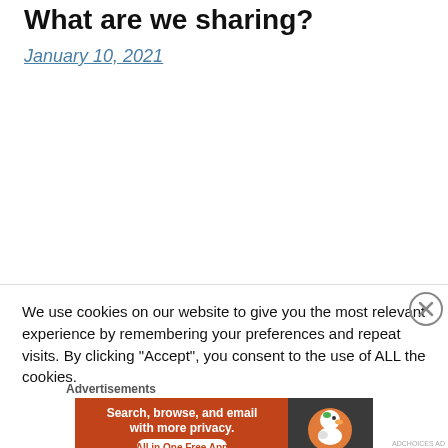What are we sharing?
January 10, 2021
We use cookies on our website to give you the most relevant experience by remembering your preferences and repeat visits. By clicking “Accept”, you consent to the use of ALL the cookies.
Advertisements
[Figure (other): DuckDuckGo advertisement banner: 'Search, browse, and email with more privacy. All in One Free App' with DuckDuckGo logo on dark background]